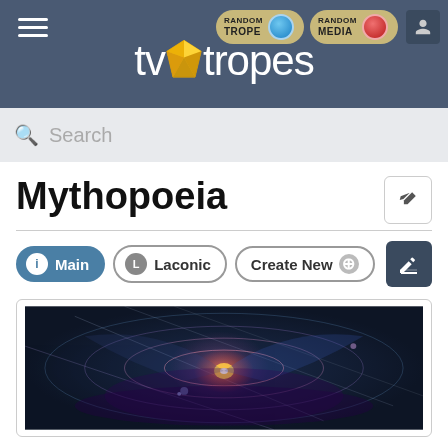TV Tropes header with navigation: hamburger menu, Random Trope button, Random Media button, user icon, TV Tropes logo, Search bar
Mythopoeia
Main | Laconic | Create New
[Figure (illustration): Fantasy illustration with glowing orange/pink circular light beams, magical energy spheres, and abstract shapes in blue/purple tones suggesting a mythological or cosmic scene]